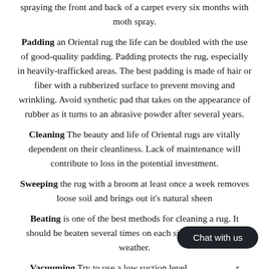spraying the front and back of a carpet every six months with moth spray.
Padding an Oriental rug the life can be doubled with the use of good-quality padding. Padding protects the rug, especially in heavily-trafficked areas. The best padding is made of hair or fiber with a rubberized surface to prevent moving and wrinkling. Avoid synthetic pad that takes on the appearance of rubber as it turns to an abrasive powder after several years.
Cleaning The beauty and life of Oriental rugs are vitally dependent on their cleanliness. Lack of maintenance will contribute to loss in the potential investment.
Sweeping the rug with a broom at least once a week removes loose soil and brings out it's natural sheen
Beating is one of the best methods for cleaning a rug. It should be beaten several times on each side, always in dry weather.
Vacuuming Try to use a low suction level [Chat with us] er vacuum against the nap, as this presses dirt b [Chat with us]. (Run your hand across the pile from fringe to fringe to determine the